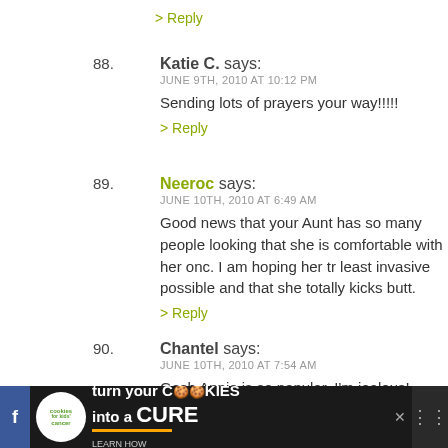> Reply
88. Katie C. says:
JUNE 9TH, 2010 AT 10:12 PM
Sending lots of prayers your way!!!!!
> Reply
89. Neeroc says:
JUNE 10TH, 2010 AT 6:49 AM
Good news that your Aunt has so many people looking that she is comfortable with her onc. I am hoping her tr least invasive possible and that she totally kicks butt.
> Reply
90. Chantel says:
JUNE 10TH, 2010 AT 7:54 AM
Gosh Annie is so popular. I'm jealous!
[Figure (screenshot): Bottom advertisement bar: cookies for kids cancer - turn your cookies into a CURE LEARN HOW]